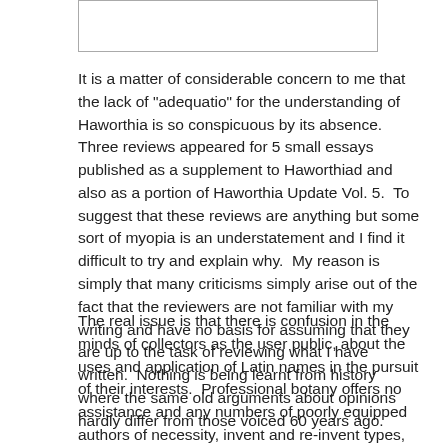[Figure (other): A rectangular box/image placeholder at the top of the page]
It is a matter of considerable concern to me that the lack of “adequatio” for the understanding of Haworthia is so conspicuous by its absence.  Three reviews appeared for 5 small essays published as a supplement to Haworthiad and also as a portion of Haworthia Update Vol. 5.  To suggest that these reviews are anything but some sort of myopia is an understatement and I find it difficult to try and explain why.  My reason is simply that many criticisms simply arise out of the fact that the reviewers are not familiar with my writing and have no basis for assuming that they are up to the task of reviewing what I have written.  Nothing is being learnt from history where the same old arguments about opinions hardly differ from those voiced 60 years ago.
The real issue is that there is confusion in the minds of collectors as the user public, about the uses and application of Latin names in the pursuit of their interests.  Professional botany offers no assistance and any numbers of poorly equipped authors of necessity, invent and re-invent types, the interpretation of names and then their application.  This does nothing to assist the